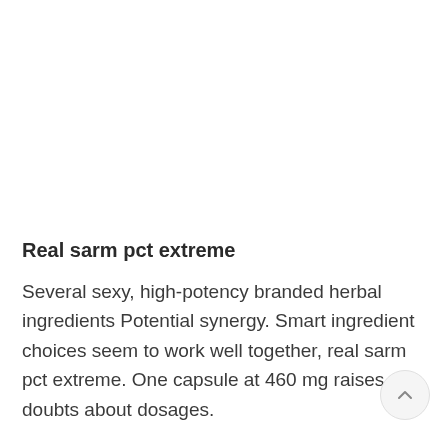Real sarm pct extreme
Several sexy, high-potency branded herbal ingredients Potential synergy. Smart ingredient choices seem to work well together, real sarm pct extreme. One capsule at 460 mg raises doubts about dosages.